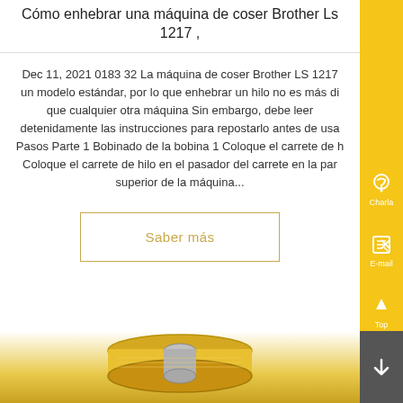Cómo enhebrar una máquina de coser Brother Ls 1217 ,
Dec 11, 2021 0183 32 La máquina de coser Brother LS 1217 un modelo estándar, por lo que enhebrar un hilo no es más di que cualquier otra máquina Sin embargo, debe leer detenidamente las instrucciones para repostarlo antes de usa Pasos Parte 1 Bobinado de la bobina 1 Coloque el carrete de h Coloque el carrete de hilo en el pasador del carrete en la par superior de la máquina...
[Figure (other): Button/link with golden border labeled 'Saber más']
[Figure (photo): A golden/yellow sewing machine bobbin at the bottom of the page]